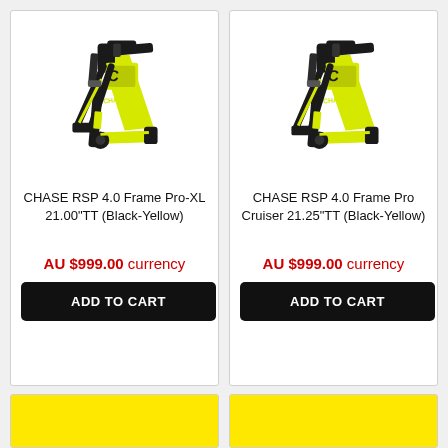[Figure (photo): CHASE RSP 4.0 BMX bicycle frame in black and yellow color, Pro-XL 21.00 TT]
CHASE RSP 4.0 Frame Pro-XL 21.00"TT (Black-Yellow)
AU $999.00 currency
ADD TO CART
[Figure (photo): CHASE RSP 4.0 BMX bicycle frame in black and yellow color, Pro Cruiser 21.25 TT]
CHASE RSP 4.0 Frame Pro Cruiser 21.25"TT (Black-Yellow)
AU $999.00 currency
ADD TO CART